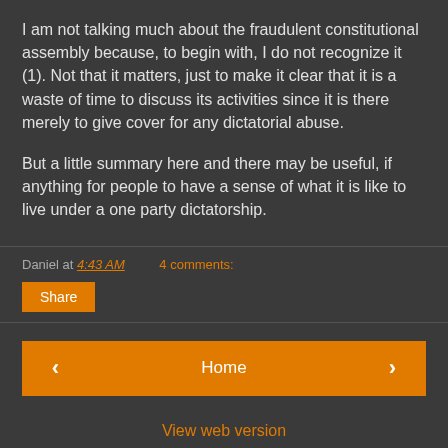I am not talking much about the fraudulent constitutional assembly because, to begin with, I do not recognize it (1). Not that it matters, just to make it clear that it is a waste of time to discuss its activities since it is there merely to give cover for any dictatorial abuse.
But a little summary here and there may be useful, if anything for people to have a sense of what it is like to live under a one party dictatorship.
Daniel at 4:43 AM    4 comments:
Share
Home
View web version
Powered by Blogger.